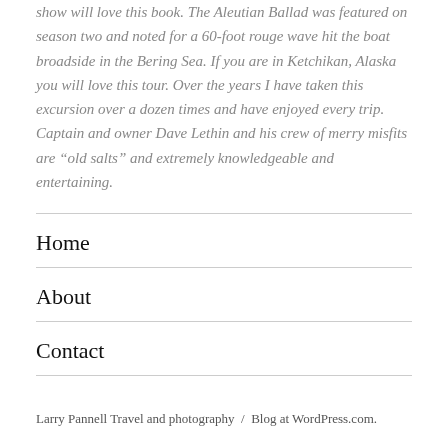show will love this book. The Aleutian Ballad was featured on season two and noted for a 60-foot rouge wave hit the boat broadside in the Bering Sea. If you are in Ketchikan, Alaska you will love this tour. Over the years I have taken this excursion over a dozen times and have enjoyed every trip. Captain and owner Dave Lethin and his crew of merry misfits are “old salts” and extremely knowledgeable and entertaining.
Home
About
Contact
Larry Pannell Travel and photography  /  Blog at WordPress.com.